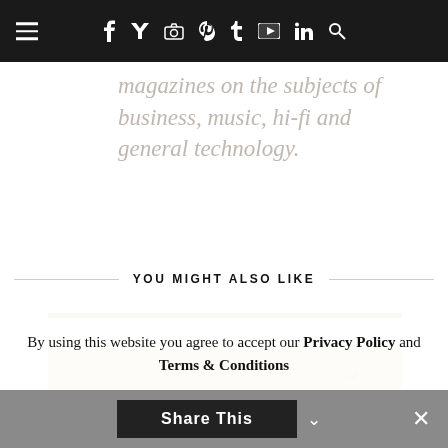≡  f  y  ☁  ⊕  t  ▶  in  🔍
magazines on the subjects of business, music, hi-fi and general technology.
YOU MIGHT ALSO LIKE
[Figure (photo): Close-up photo of a bamboo/wood device top surface with a small dark circular element (possibly a button or speaker) and a small logo in the top-right corner, shown at an angle on a white background.]
By using this website you agree to accept our Privacy Policy and Terms & Conditions
Share This